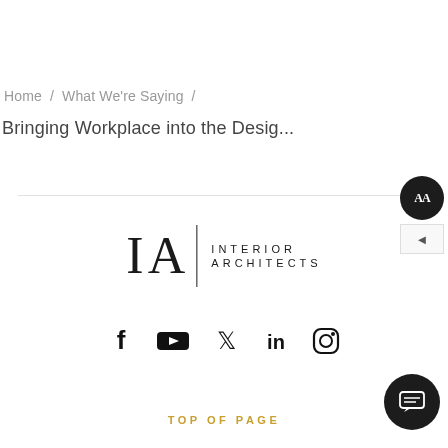Home / What We're Saying /
Bringing Workplace into the Desig...
[Figure (logo): IA Interior Architects logo — large italic 'IA' letters with a vertical divider bar and text 'INTERIOR ARCHITECTS' in spaced capitals]
[Figure (infographic): Social media icons row: Facebook, YouTube, Twitter, LinkedIn, Instagram]
TOP OF PAGE